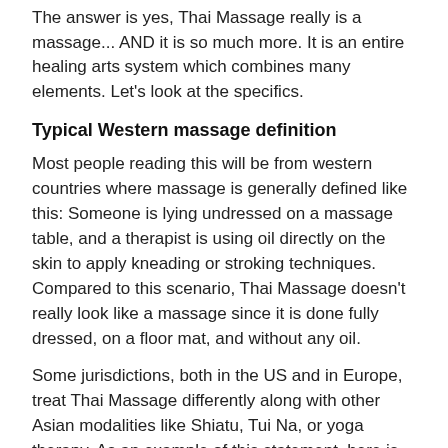The answer is yes, Thai Massage really is a massage... AND it is so much more. It is an entire healing arts system which combines many elements. Let's look at the specifics.
Typical Western massage definition
Most people reading this will be from western countries where massage is generally defined like this: Someone is lying undressed on a massage table, and a therapist is using oil directly on the skin to apply kneading or stroking techniques. Compared to this scenario, Thai Massage doesn't really look like a massage since it is done fully dressed, on a floor mat, and without any oil.
Some jurisdictions, both in the US and in Europe, treat Thai Massage differently along with other Asian modalities like Shiatu, Tui Na, or yoga therapy. As an example of this statement, here is the one sentence in the Massachusetts law: " Asian Bodywork Therapy that does not constitute massage as defined in this chapter."
What does Thai Massage consist of?